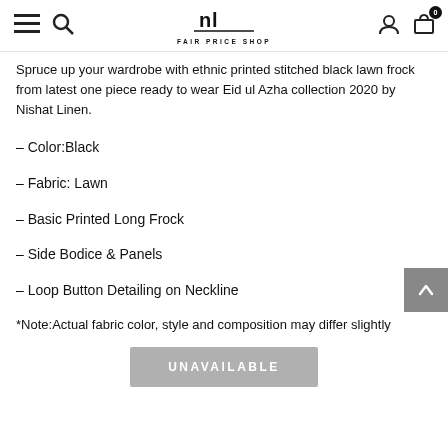Fair Price Shop navigation header with hamburger menu, search, logo, user icon, and cart (0)
Spruce up your wardrobe with ethnic printed stitched black lawn frock from latest one piece ready to wear Eid ul Azha collection 2020 by Nishat Linen.
- Color:Black
- Fabric: Lawn
- Basic Printed Long Frock
- Side Bodice & Panels
- Loop Button Detailing on Neckline
*Note:Actual fabric color, style and composition may differ slightly
UNAVAILABLE